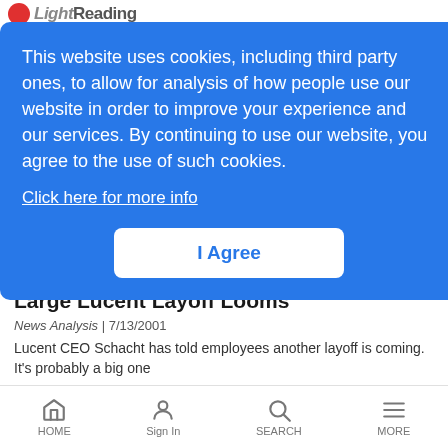Light Reading
This website uses cookies, including third party ones, to allow for analysis of how people use our website in order to improve your experience and our services. By continuing to use our website, you agree to the use of such cookies.
Click here for more info
I Agree
Large Lucent Layoff Looms
News Analysis | 7/13/2001
Lucent CEO Schacht has told employees another layoff is coming. It's probably a big one
Cisco Acquisition Causes RPR Stink
HOME  Sign In  SEARCH  MORE